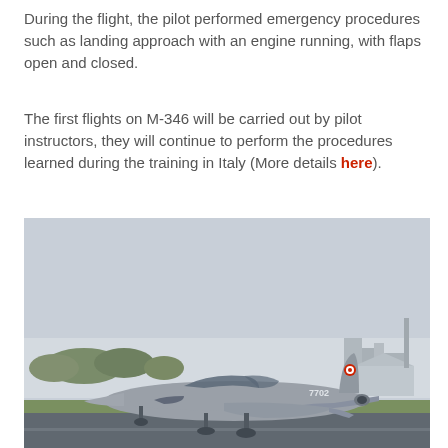During the flight, the pilot performed emergency procedures such as landing approach with an engine running, with flaps open and closed.
The first flights on M-346 will be carried out by pilot instructors, they will continue to perform the procedures learned during the training in Italy (More details here).
[Figure (photo): An M-346 jet trainer aircraft with tail number 7702 and Polish Air Force markings taxiing on a runway, with green grass, trees, and buildings in the background under an overcast sky.]